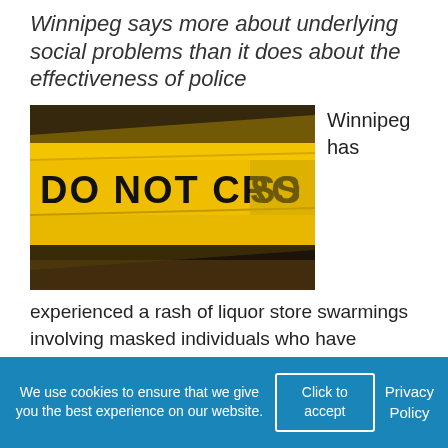Winnipeg says more about underlying social problems than it does about the effectiveness of police
[Figure (photo): Yellow and black crime scene 'DO NOT CROSS POLICE' tape in close-up view]
Winnipeg has
experienced a rash of liquor store swarmings involving masked individuals who have become increasingly accustomed to little or no resistance. The best deterrent to crime is not the severity of sentence or
We use cookies to ensure that we give you the best experience on our website.
Click to accept
Privacy Policy